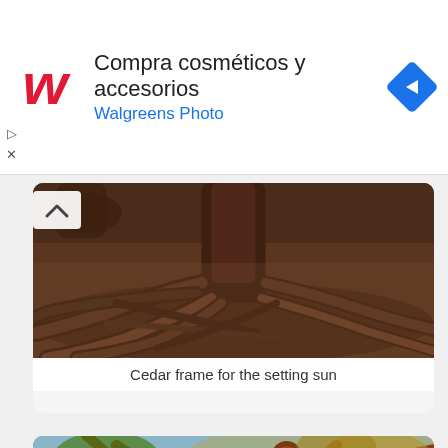[Figure (photo): Walgreens advertisement banner with logo, text 'Compra cosméticos y accesorios' and 'Walgreens Photo', and a diamond navigation icon]
[Figure (photo): HDR photograph of cedar tree roots spreading across the ground with dramatic lighting]
Cedar frame for the setting sun
[Figure (photo): HDR photograph of a large oak tree with sweeping branches and golden/orange foliage against a sky background]